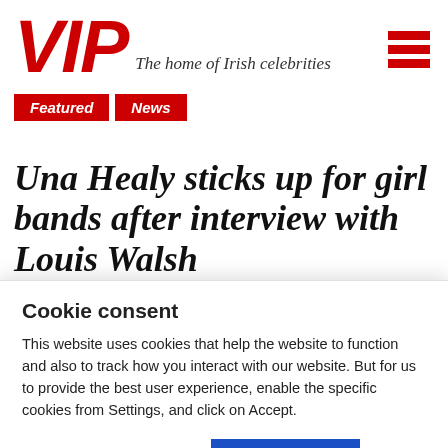VIP — The home of Irish celebrities
Featured
News
Una Healy sticks up for girl bands after interview with Louis Walsh
By Hannah Hillyer | 03/11/2021 | Comments
Share with [Facebook] [Twitter] [Instagram]
Cookie consent
This website uses cookies that help the website to function and also to track how you interact with our website. But for us to provide the best user experience, enable the specific cookies from Settings, and click on Accept.
Preferences   Accept All